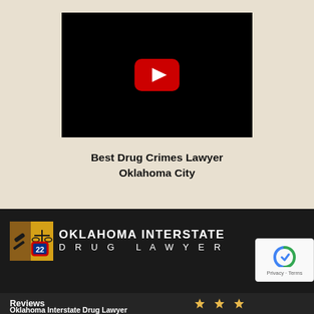[Figure (screenshot): YouTube video embed with black background and red YouTube play button in center]
Best Drug Crimes Lawyer Oklahoma City
[Figure (logo): Oklahoma Interstate Drug Lawyer logo with gavel/scales icon and interstate 22 sign]
[Figure (other): Google reCAPTCHA badge with Privacy and Terms link]
Reviews
Oklahoma Interstate Drug Lawyer